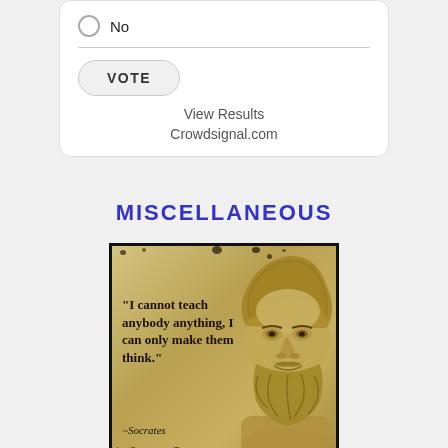No
VOTE
View Results
Crowdsignal.com
MISCELLANEOUS
[Figure (illustration): Vintage parchment-style image of a bearded bust (Socrates) with quote: "I cannot teach anybody anything, I can only make them think." ~Socrates]